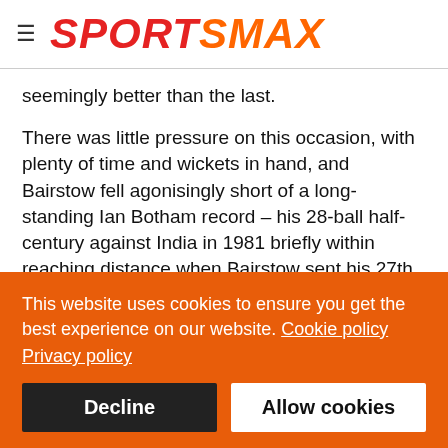SPORTSMAX
seemingly better than the last.
There was little pressure on this occasion, with plenty of time and wickets in hand, and Bairstow fell agonisingly short of a long-standing Ian Botham record – his 28-ball half-century against India in 1981 briefly within reaching distance when Bairstow sent his 27th ball over the rope to reach 46.
A dot ball and a single followed before Bairstow passed 50 with his sixth four, to go with two maximums, after just 42 minutes.
This website uses cookies to ensure you get the best experience on our website. Cookie policy Privacy policy
Decline
Allow cookies